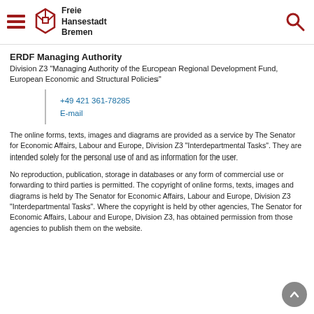Freie Hansestadt Bremen
ERDF Managing Authority
Division Z3 "Managing Authority of the European Regional Development Fund, European Economic and Structural Policies"
+49 421 361-78285
E-mail
The online forms, texts, images and diagrams are provided as a service by The Senator for Economic Affairs, Labour and Europe, Division Z3 "Interdepartmental Tasks". They are intended solely for the personal use of and as information for the user.
No reproduction, publication, storage in databases or any form of commercial use or forwarding to third parties is permitted. The copyright of online forms, texts, images and diagrams is held by The Senator for Economic Affairs, Labour and Europe, Division Z3 "Interdepartmental Tasks". Where the copyright is held by other agencies, The Senator for Economic Affairs, Labour and Europe, Division Z3, has obtained permission from those agencies to publish them on the website.